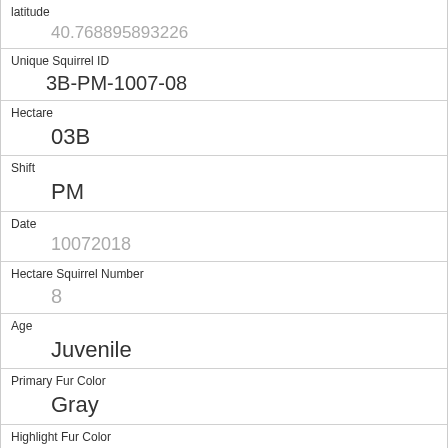| Field | Value |
| --- | --- |
| latitude | 40.768895893226 |
| Unique Squirrel ID | 3B-PM-1007-08 |
| Hectare | 03B |
| Shift | PM |
| Date | 10072018 |
| Hectare Squirrel Number | 8 |
| Age | Juvenile |
| Primary Fur Color | Gray |
| Highlight Fur Color |  |
| Combination of Primary and Highlight Color | Gray+ |